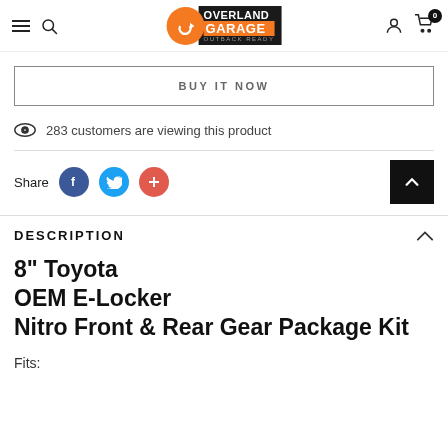Overland Garage Outback Ready
BUY IT NOW
283 customers are viewing this product
Share
DESCRIPTION
8" Toyota OEM E-Locker Nitro Front & Rear Gear Package Kit
Fits: